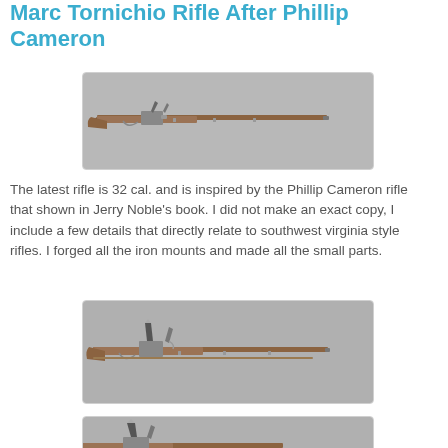Marc Tornichio Rifle After Phillip Cameron
[Figure (photo): Full-length view of a flintlock long rifle displayed horizontally against a grey background, showing the full barrel, stock, and lock mechanism.]
The latest rifle is 32 cal. and is inspired by the Phillip Cameron rifle that shown in Jerry Noble's book. I did not make an exact copy, I include a few details that directly relate to southwest virginia style rifles. I forged all the iron mounts and made all the small parts.
[Figure (photo): Side view of the same flintlock long rifle, showing closer detail of the lock mechanism and wooden stock against a grey background.]
[Figure (photo): Partial view of the flintlock rifle, cropped, showing the lock and stock detail.]